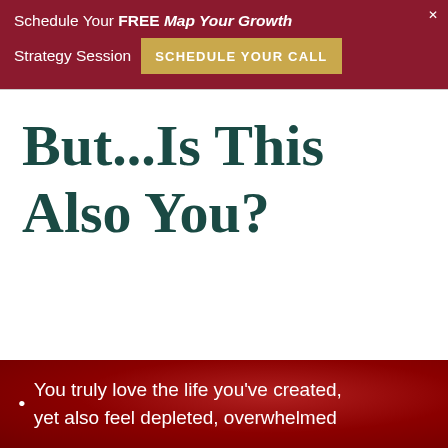Schedule Your FREE Map Your Growth Strategy Session  SCHEDULE YOUR CALL
But...Is This Also You?
You truly love the life you've created, yet also feel depleted, overwhelmed